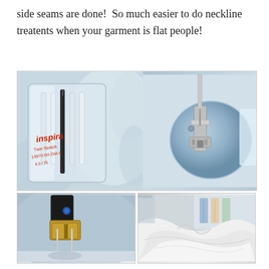side seams are done!  So much easier to do neckline treatents when your garment is flat people!
[Figure (photo): Collage of three sewing photos: top image shows an Inspira Twin Stretch needle package (100/70 5H-ZWI-S, 4.0/75) on the left and a sewing machine needle/presser foot from above on the right; bottom-left shows a close-up of a twin needle mounted in a sewing machine presser foot; bottom-right shows white knit fabric gathered/folded near a sewing machine.]